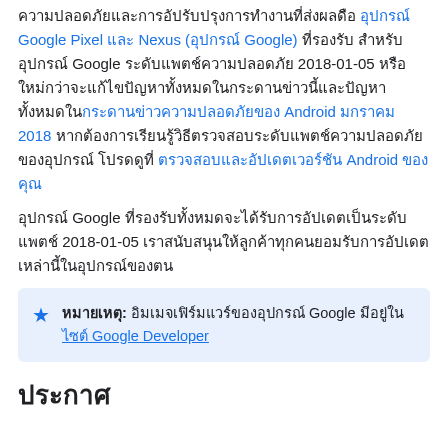ความปลอดภัยและการอัปรับปรุงการทำงานที่ส่งผลดือ อุปกรณ์ Google Pixel และ Nexus (อุปกรณ์ Google) ที่รองรับ สำหรับอุปกรณ์ Google ระดับแพตช์ความปลอดภัย 2018-01-05 หรือใหม่กว่าจะแก้ไขปัญหาทั้งหมดในกระดานข่าวนี้และปัญหาทั้งหมดในกระดานข่าวความปลอดภัยของ Android มกราคม 2018 หากต้องการเรียนรู้วิธีตรวจสอบระดับแพตช์ความปลอดภัยของอุปกรณ์ โปรดดูที่ ตรวจสอบและอัปเดตเวอร์ชัน Android ของคุณ
อุปกรณ์ Google ที่รองรับทั้งหมดจะได้รับการอัปเดตเป็นระดับแพตช์ 2018-01-05 เราสนับสนุนให้ลูกค้าทุกคนยอมรับการอัปเดตเหล่านี้ในอุปกรณ์ของตน
หมายเหตุ: อิมเมจเฟิร์มแวร์ของอุปกรณ์ Google มีอยู่ใน ไซต์ Google Developer
ประกาศ